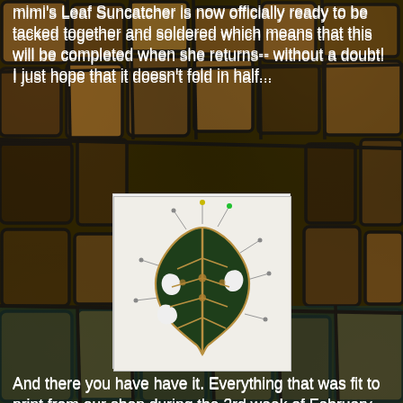mimi's Leaf Suncatcher is now officially ready to be tacked together and soldered which means that this will be completed when she returns-- without a doubt!   I just hope that it doesn't fold in half...
[Figure (photo): A stained glass monstera leaf suncatcher in progress, pinned down on a white surface. The dark green glass pieces are tacked together with solder lines forming the veins of the leaf. Pins hold the pieces in place around the edges.]
And there you have have it.   Everything that was fit to print from our shop during the 3rd week of February.
Paul
Bayou Sale GlassWorks